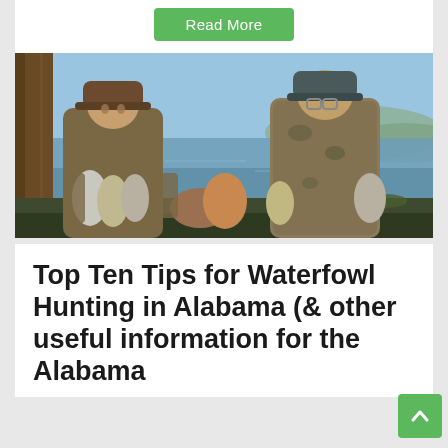Read More
[Figure (photo): Two hunters in camouflage gear standing by a lake/river shoreline near a tree, holding harvested waterfowl (ducks). Background shows water and hills under a blue sky.]
Top Ten Tips for Waterfowl Hunting in Alabama (& other useful information for the Alabama